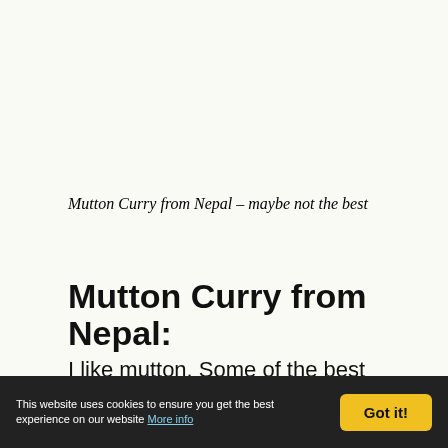Mutton Curry from Nepal – maybe not the best
Mutton Curry from Nepal:
I like mutton. Some of the best mutton dishes I've had have been in India and certainly the single best roast leg of mutton I ever had was in Pakistan. What then when I see mutton curry on a menu in Nepal? Pakistan, India … Nepal. Surely it would have a hint of the former by nature?
This website uses cookies to ensure you get the best experience on our website More info  Got it!